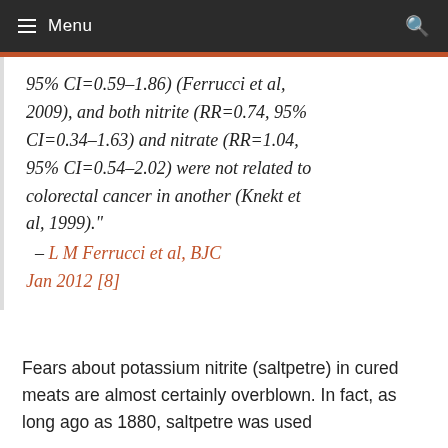≡ Menu
95% CI=0.59–1.86) (Ferrucci et al, 2009), and both nitrite (RR=0.74, 95% CI=0.34–1.63) and nitrate (RR=1.04, 95% CI=0.54–2.02) were not related to colorectal cancer in another (Knekt et al, 1999)."  – L M Ferrucci et al, BJC Jan 2012 [8]
Fears about potassium nitrite (saltpetre) in cured meats are almost certainly overblown. In fact, as long ago as 1880, saltpetre was used